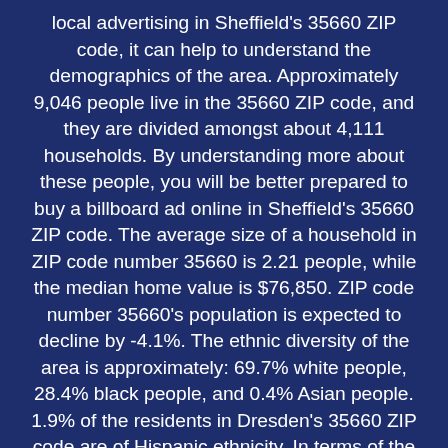local advertising in Sheffield's 35660 ZIP code, it can help to understand the demographics of the area. Approximately 9,046 people live in the 35660 ZIP code, and they are divided amongst about 4,111 households. By understanding more about these people, you will be better prepared to buy a billboard ad online in Sheffield's 35660 ZIP code. The average size of a household in ZIP code number 35660 is 2.21 people, while the median home value is $76,850. ZIP code number 35660's population is expected to decline by -4.1%. The ethnic diversity of the area is approximately: 69.7% white people, 28.4% black people, and 0.4% Asian people. 1.9% of the residents in Dresden's 35660 ZIP code are of Hispanic ethnicity. In terms of the male/female ratio, there is one female for every 0.9 males in the area. According to data from The U.S. Census, the 35660 ZIP code of Sheffield, Alabama has 1 renter for every 1.76 homeowner(s). The average